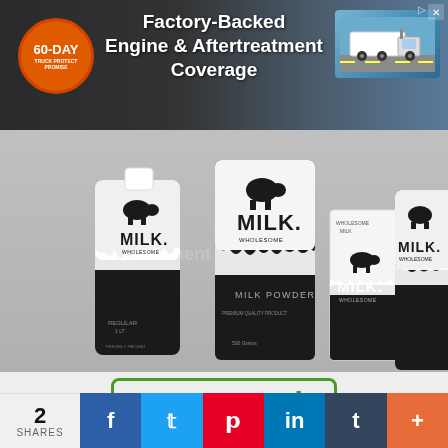[Figure (photo): Advertisement banner: 60-Day Truck Protect Promise badge, text 'Factory-Backed Engine & Aftertreatment Coverage', photo of white truck on highway]
[Figure (photo): Milk product packaging mockup: black and white milk bottles, pouches, and cartons with cow silhouette and 'MILK' branding on gray background]
DOWNLOAD NOW ↓
Plastic Milk Jug Bottle Mockup
2 SHARES
f  t  p  in  t  +